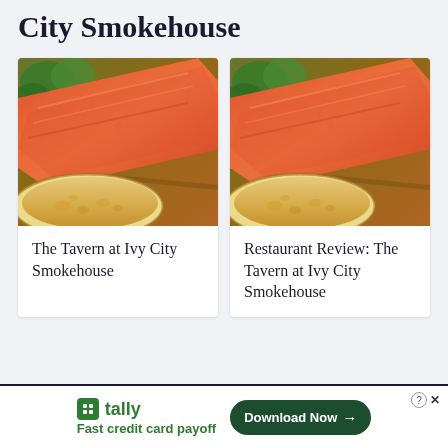City Smokehouse
[Figure (photo): Photo of smoked salmon fillet with bread and herbs on wooden board - card image for 'The Tavern at Ivy City Smokehouse']
The Tavern at Ivy City Smokehouse
[Figure (photo): Photo of smoked salmon fillet with bread and herbs on wooden board - card image for 'Restaurant Review: The Tavern at Ivy City Smokehouse']
Restaurant Review: The Tavern at Ivy City Smokehouse
tally Fast credit card payoff  Download Now